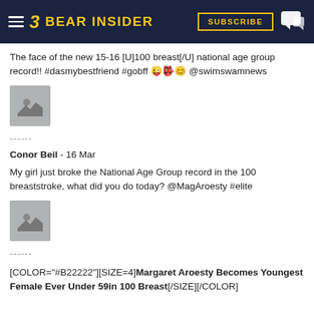Bear Insider
The face of the new 15-16 [U]100 breast[/U] national age group record!! #dasmybestfriend #gobff 😜👺😊 @swimswamnews
[Figure (photo): Image placeholder (mountain/photo icon)]
------
Conor Beil - 16 Mar
My girl just broke the National Age Group record in the 100 breaststroke, what did you do today? @MagAroesty #elite
[Figure (photo): Image placeholder (mountain/photo icon)]
------
[COLOR="#B22222"][SIZE=4]Margaret Aroesty Becomes Youngest Female Ever Under 59in 100 Breast[/SIZE][/COLOR]